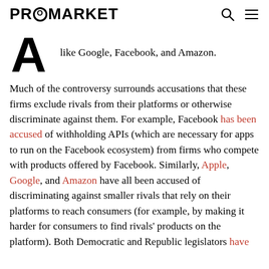PROMARKET
[Figure (illustration): Large decorative drop-cap letter A in bold black serif font]
like Google, Facebook, and Amazon.
Much of the controversy surrounds accusations that these firms exclude rivals from their platforms or otherwise discriminate against them. For example, Facebook has been accused of withholding APIs (which are necessary for apps to run on the Facebook ecosystem) from firms who compete with products offered by Facebook. Similarly, Apple, Google, and Amazon have all been accused of discriminating against smaller rivals that rely on their platforms to reach consumers (for example, by making it harder for consumers to find rivals' products on the platform). Both Democratic and Republic legislators have